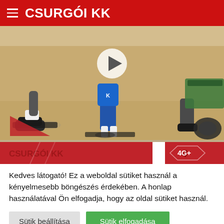CSURGÓI KK
[Figure (photo): Sports gym scene showing athletes/players doing exercises on mats on a beige floor. Red exercise mats visible. A play button overlay is shown in the center top area.]
[Figure (photo): Red banner strip with logo/branding for Csurgói KK]
Kedves látogató! Ez a weboldal sütiket használ a kényelmesebb böngészés érdekében. A honlap használatával Ön elfogadja, hogy az oldal sütiket használ.
Sütik beállítása
Sütik elfogadása